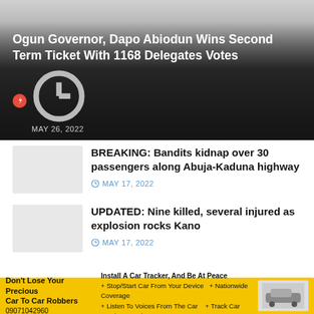[Figure (photo): Hero image with dark gradient overlay showing a news article thumbnail for Ogun Governor story]
Ogun Governor, Dapo Abiodun Wins Second Term Ticket With 1168 Delegates Votes
MAY 26, 2022
BREAKING: Bandits kidnap over 30 passengers along Abuja-Kaduna highway
MAY 17, 2022
UPDATED: Nine killed, several injured as explosion rocks Kano
MAY 17, 2022
[Figure (infographic): Yellow advertisement banner: Don't Lose Your Precious Car To Car Robbers - Install A Car Tracker, And Be At Peace. 09071042960. Stop/Start Car From Your Device. Nationwide Coverage. Listen To Voices From The Car. Track Car Precise Location.]